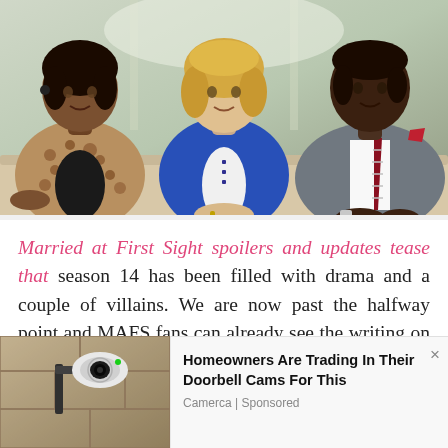[Figure (photo): Three people sitting: a woman in a leopard print jacket on the left, a woman in a blue blazer in the center, and a man in a grey suit with a striped tie on the right. They appear to be on a TV show set.]
Married at First Sight spoilers and updates tease that season 14 has been filled with drama and a couple of villains. We are now past the halfway point and MAFS fans can already see the writing on the wall.
[Figure (photo): Advertisement image showing a security camera or doorbell camera mounted on a stone wall bracket.]
Homeowners Are Trading In Their Doorbell Cams For This
Camerca | Sponsored